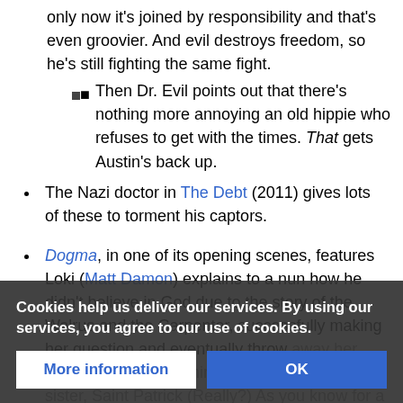only now it's joined by responsibility and that's even groovier. And evil destroys freedom, so he's still fighting the same fight.
Then Dr. Evil points out that there's nothing more annoying an old hippie who refuses to get with the times. That gets Austin's back up.
The Nazi doctor in The Debt (2011) gives lots of these to torment his captors.
Dogma, in one of its opening scenes, features Loki (Matt Damon) explains to a nun how he didn't believe in God due to the story of the Walrus and the Carpenter, successfully making her question and eventually throw away her faith, in a span of 5 minutes. As noted by his sister, Saint Patrick (Really?) As you know for a fact that there's a God. You can't explain that, ence. You've spoken to hi  you claim you
Cookies help us deliver our services. By using our services, you agree to our use of cookies.